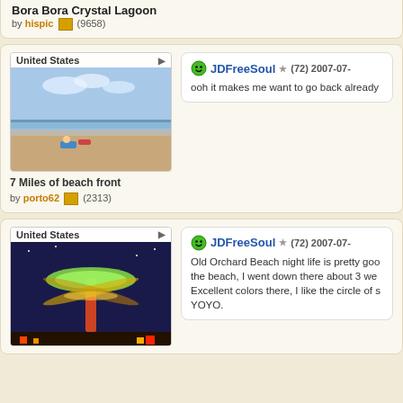Bora Bora Crystal Lagoon
by hispic (9658)
[Figure (photo): Beach photo - 7 Miles of beach front, United States]
7 Miles of beach front
by porto62 (2313)
JDFreeSoul (72) 2007-07-
ooh it makes me want to go back already
[Figure (photo): Night carnival ride photo - United States]
JDFreeSoul (72) 2007-07-
Old Orchard Beach night life is pretty good the beach, I went down there about 3 we Excellent colors there, I like the circle of s YOYO.